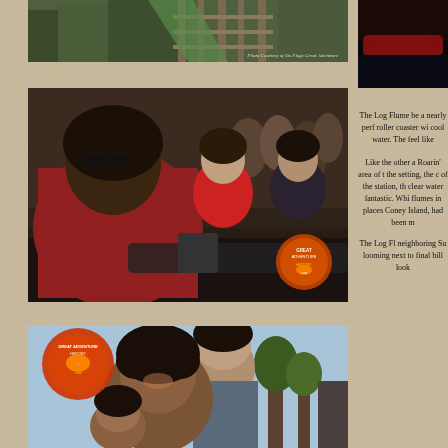[Figure (photo): Top photo of log flume ride structure with caption 'Photo Courtesy of Six Flags Great Adventure']
[Figure (photo): Middle photo of riders in log flume boats, woman in red checkered shirt with children, Great Adventure logo watermark]
[Figure (photo): Bottom photo of couple smiling, Great Adventure History logo in upper left]
[Figure (photo): Partial photo on upper right side]
The Log Flume be a nearly perf roller coaster wi cool water. The feel like Like the other a Roarin' area of t the setting, the c of the station, th clear water fantastic. Whi flumes in places Coney Island, had been m The Log F neighboring Su looming next to final hill look